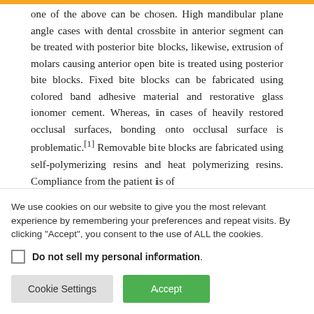one of the above can be chosen. High mandibular plane angle cases with dental crossbite in anterior segment can be treated with posterior bite blocks, likewise, extrusion of molars causing anterior open bite is treated using posterior bite blocks. Fixed bite blocks can be fabricated using colored band adhesive material and restorative glass ionomer cement. Whereas, in cases of heavily restored occlusal surfaces, bonding onto occlusal surface is problematic.[1] Removable bite blocks are fabricated using self-polymerizing resins and heat polymerizing resins. Compliance from the patient is of
We use cookies on our website to give you the most relevant experience by remembering your preferences and repeat visits. By clicking "Accept", you consent to the use of ALL the cookies.
Do not sell my personal information.
Cookie Settings | Accept